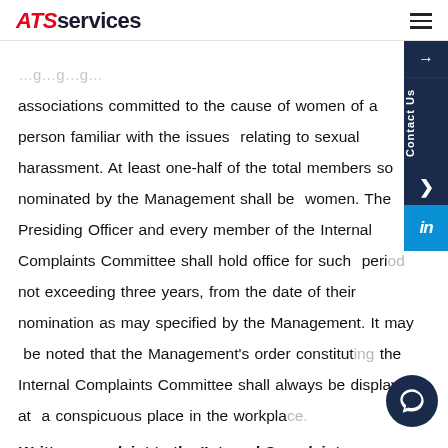ATS services
associations committed to the cause of women of a person familiar with the issues relating to sexual harassment. At least one-half of the total members so nominated by the Management shall be women. The Presiding Officer and every member of the Internal Complaints Committee shall hold office for such period not exceeding three years, from the date of their nomination as may specified by the Management. It may be noted that the Management's order constituting the Internal Complaints Committee shall always be displayed at a conspicuous place in the workplace.
Written complaint to the 'Internal Complaints